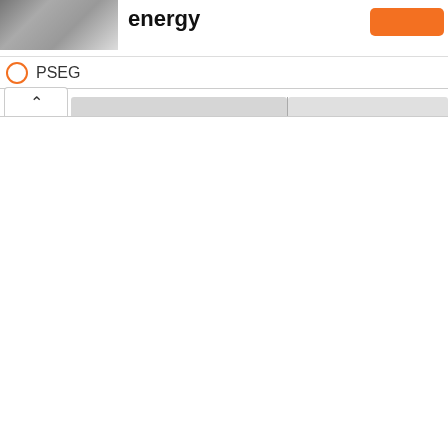[Figure (screenshot): PSEG energy webpage header with photo thumbnail on left, bold title 'energy' in center, orange button on right, and PSEG label with orange circle below]
energy
PSEG